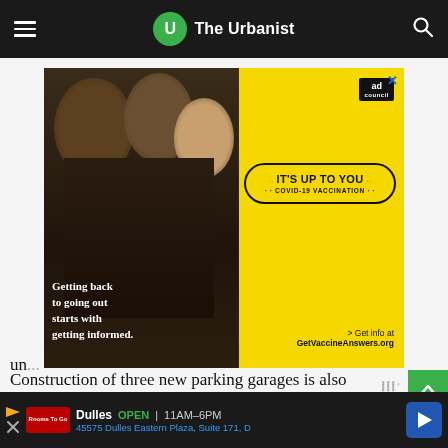The Urbanist
[Figure (photo): Advertisement banner showing group of happy young people, with text 'Getting back to going out starts with getting informed.' on photo side and yellow background with 'IT'S UP TO YOU COVID-19 VACCINATION' pill badge and 'Get info at GetVaccineAnswers.org' on right side. Ad Council badge visible.]
Construction of three new parking garages is also un... ney... ge... parking...
[Figure (screenshot): Bottom advertisement bar showing Dulles store: OPEN 11AM-6PM, 45575 Dulles Eastern Plaza, Suite 171, D — with navigation arrow icon]